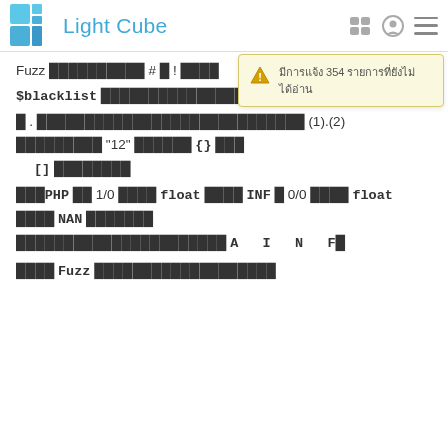Light Cube
[Figure (infographic): Warning notification popup with triangle warning icon, showing Thai text about 354 items]
Fuzz ██████████ # █ ! ████
$blacklist ████████████████████████
█ . ██████████████████████████ (1).(2) █████████ "12" ██████ {} ███ [] ████████
███PHP ██ 1/0 ████ float ████ INF █ 0/0 ████ float ████ NAN █████████████████████████████ A  I  N  F█
████ Fuzz ██████████████████████